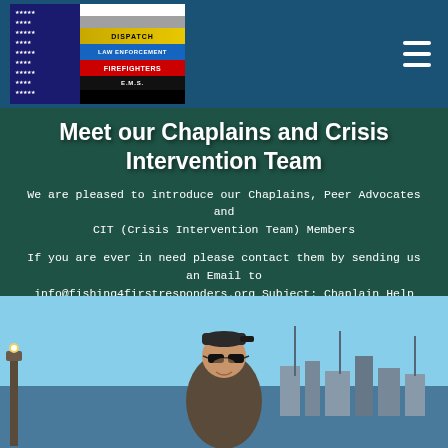[Figure (logo): First responders flag logo with stars and stripes in black, white, gold (DISPATCH), blue (LAW ENFORCEMENT), red (FIREFIGHTERS), and black (E.M.S.) horizontal bands]
[Figure (other): Hamburger menu icon (three horizontal white bars) in top right corner]
Meet our Chaplains and Crisis Intervention Team
We are pleased to introduce our Chaplains, Peer Advocates and CIT (Crisis Intervention Team) Members
If you are ever in need please contact them by sending us an Email to info@fishing4firstresponders.org Subject: Chaplain Help
[Figure (photo): A man wearing a cap and sunglasses standing outdoors near water with a marina/harbor in the background]